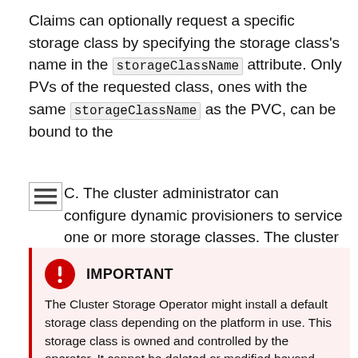Claims can optionally request a specific storage class by specifying the storage class's name in the storageClassName attribute. Only PVs of the requested class, ones with the same storageClassName as the PVC, can be bound to the PVC. The cluster administrator can configure dynamic provisioners to service one or more storage classes. The cluster administrator can create a PV on demand that matches the specifications in the PVC.
IMPORTANT
The Cluster Storage Operator might install a default storage class depending on the platform in use. This storage class is owned and controlled by the operator. It cannot be deleted or modified beyond defining annotations and labels. If different behavior is desired, you must define a custom storage class.